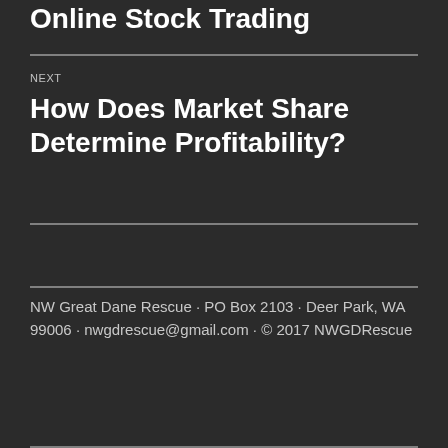Online Stock Trading
NEXT
How Does Market Share Determine Profitability?
NW Great Dane Rescue · PO Box 2103 · Deer Park, WA 99006 · nwgdrescue@gmail.com · © 2017 NWGDRescue